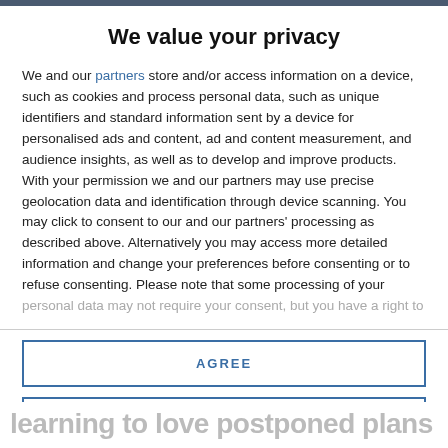We value your privacy
We and our partners store and/or access information on a device, such as cookies and process personal data, such as unique identifiers and standard information sent by a device for personalised ads and content, ad and content measurement, and audience insights, as well as to develop and improve products. With your permission we and our partners may use precise geolocation data and identification through device scanning. You may click to consent to our and our partners' processing as described above. Alternatively you may access more detailed information and change your preferences before consenting or to refuse consenting. Please note that some processing of your personal data may not require your consent, but you have a right to
AGREE
MORE OPTIONS
learning to love postponed plans